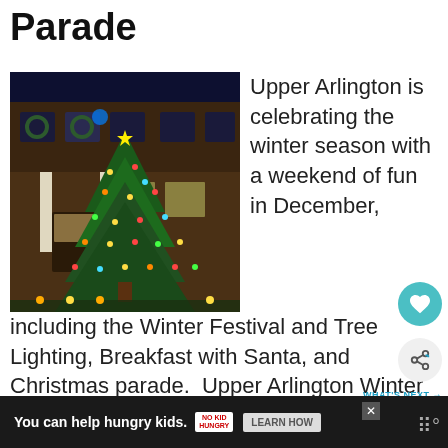Parade
[Figure (photo): A decorated house with a large lit Christmas tree in front at night, with string lights and holiday decorations.]
Upper Arlington is celebrating the winter season with a weekend of fun in December, including the Winter Festival and Tree Lighting, Breakfast with Santa, and Christmas parade.  Upper Arlington Winter Festival Get in the spirit of the season with the UA Winter Festival and Tree Lig
… [Read more...]
You can help hungry kids. NO KID HUNGRY LEARN HOW